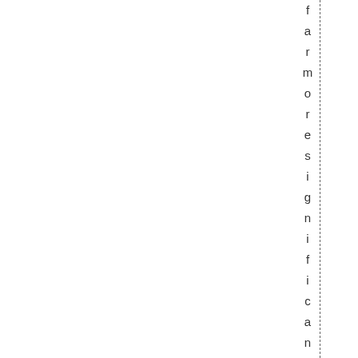far more significant, however, are t